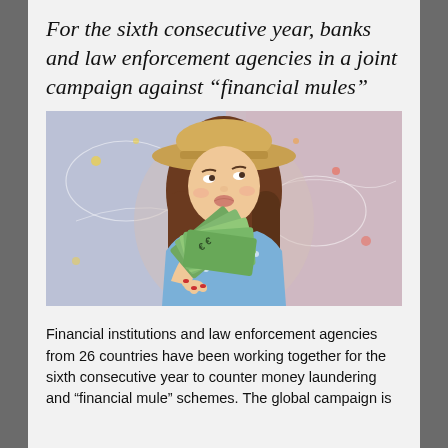For the sixth consecutive year, banks and law enforcement agencies in a joint campaign against “financial mules”
[Figure (photo): A young woman with long brown hair wearing a straw hat and blue polka-dot top, making a playful pouting expression and holding a fan of Euro banknotes. The background features a colorful world map graphic with decorative swirls and dots in pink, blue, and yellow tones.]
Financial institutions and law enforcement agencies from 26 countries have been working together for the sixth consecutive year to counter money laundering and “financial mule” schemes. The global campaign is